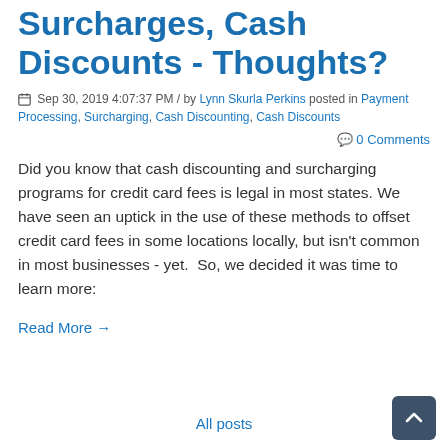Surcharges, Cash Discounts - Thoughts?
Sep 30, 2019 4:07:37 PM / by Lynn Skurla Perkins posted in Payment Processing, Surcharging, Cash Discounting, Cash Discounts
0 Comments
Did you know that cash discounting and surcharging programs for credit card fees is legal in most states. We have seen an uptick in the use of these methods to offset credit card fees in some locations locally, but isn't common in most businesses - yet.  So, we decided it was time to learn more:
Read More →
All posts